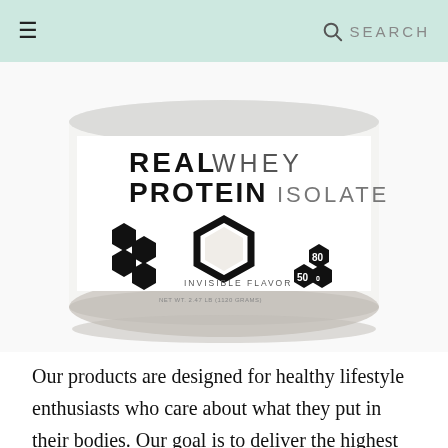SEARCH
[Figure (photo): White cylindrical protein powder container labeled 'REAL WHEY PROTEIN ISOLATE' with hexagon design elements and 'INVISIBLE FLAVOR', showing 80 servings, 50g protein, 0 sugar, on a white background.]
Our products are designed for healthy lifestyle enthusiasts who care about what they put in their bodies. Our goal is to deliver the highest quality whey protein without any unnecessary ingredients. Whether you are aiming to increase your daily protein